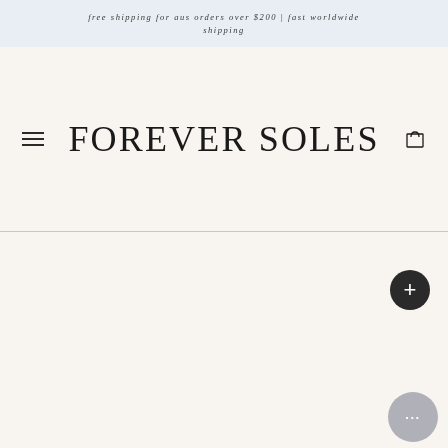free shipping for aus orders over $200 | fast worldwide shipping
FOREVER SOLES
[Figure (screenshot): E-commerce website header for Forever Soles showing a light blue banner with shipping info, large serif logo text, hamburger menu, cart icon, a dark circular plus button, and a gray chat widget button.]